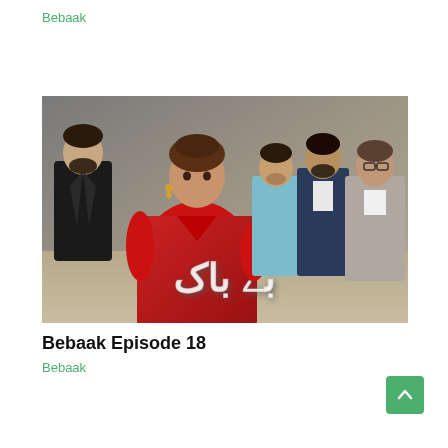Bebaak
[Figure (photo): Promotional poster for Pakistani TV drama 'Bebaak' showing a woman in a red dress in the foreground and four men standing in the background, with Urdu title text at the bottom]
Bebaak Episode 18
Bebaak